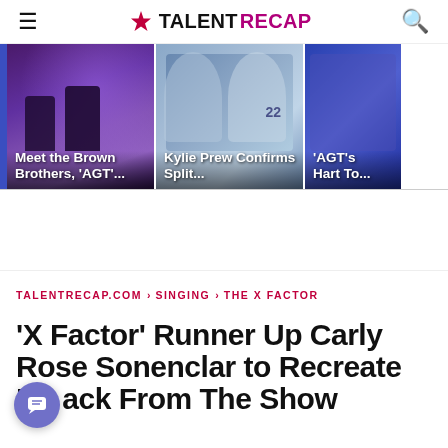TALENT RECAP
[Figure (photo): Carousel of three article thumbnail images: 1) Two men on stage with purple lighting captioned 'Meet the Brown Brothers, AGT...', 2) Two young women in softball uniforms captioned 'Kylie Prew Confirms Split...', 3) Partial image captioned 'AGT's Hart To...']
TALENTRECAP.COM › SINGING › THE X FACTOR
'X Factor' Runner Up Carly Rose Sonenclar to Recreate Hit ack From The Show